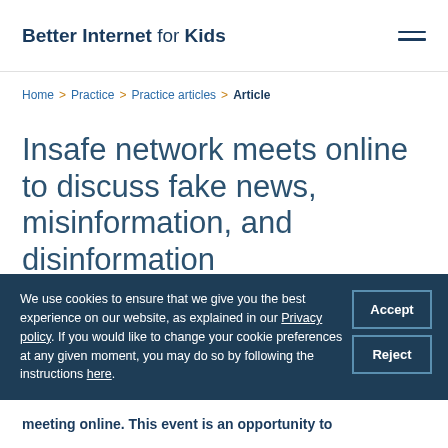Better Internet for Kids
Home > Practice > Practice articles > Article
Insafe network meets online to discuss fake news, misinformation, and disinformation
We use cookies to ensure that we give you the best experience on our website, as explained in our Privacy policy. If you would like to change your cookie preferences at any given moment, you may do so by following the instructions here.
meeting online. This event is an opportunity to